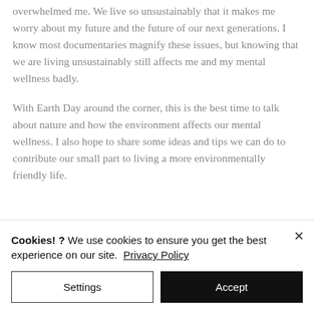overwhelmed me. We live so unsustainably that it makes me worry about my future and the future of our next generations. I know most documentaries magnify these issues, but knowing that we are living unsustainably still affects me and my mental wellness badly.
With Earth Day around the corner, this is the best time to talk about nature and how the environment affects our mental wellness. I also hope to share some ideas and tips we can do to contribute our small part to living a more environmentally friendly life.
Cookies! ? We use cookies to ensure you get the best experience on our site. Privacy Policy